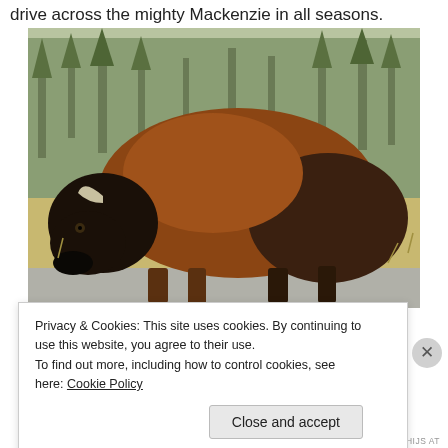drive across the mighty Mackenzie in all seasons.
[Figure (photo): A large bison standing on a road with trees and scrubby vegetation in the background. The bison is facing left, showing its large brown hump and dark shaggy head with a curved horn.]
Privacy & Cookies: This site uses cookies. By continuing to use this website, you agree to their use.
To find out more, including how to control cookies, see here: Cookie Policy
Close and accept